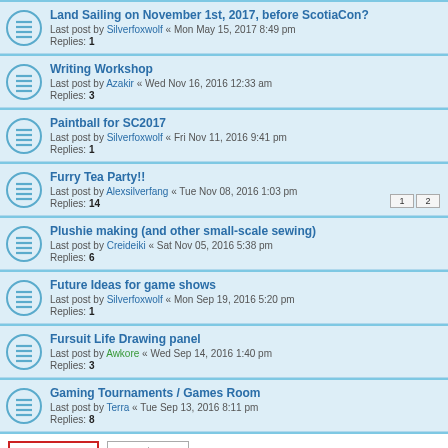Land Sailing on November 1st, 2017, before ScotiaCon? Last post by Silverfoxwolf « Mon May 15, 2017 8:49 pm Replies: 1
Writing Workshop Last post by Azakir « Wed Nov 16, 2016 12:33 am Replies: 3
Paintball for SC2017 Last post by Silverfoxwolf « Fri Nov 11, 2016 9:41 pm Replies: 1
Furry Tea Party!! Last post by Alexsilverfang « Tue Nov 08, 2016 1:03 pm Replies: 14
Plushie making (and other small-scale sewing) Last post by Creideiki « Sat Nov 05, 2016 5:38 pm Replies: 6
Future Ideas for game shows Last post by Silverfoxwolf « Mon Sep 19, 2016 5:20 pm Replies: 1
Fursuit Life Drawing panel Last post by Awkore « Wed Sep 14, 2016 1:40 pm Replies: 3
Gaming Tournaments / Games Room Last post by Terra « Tue Sep 13, 2016 8:11 pm Replies: 8
12 topics • Page 1 of 1